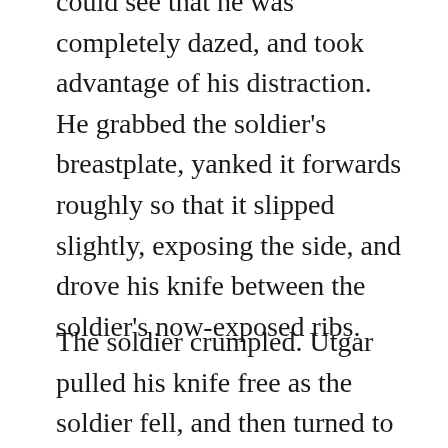could see that he was completely dazed, and took advantage of his distraction. He grabbed the soldier's breastplate, yanked it forwards roughly so that it slipped slightly, exposing the side, and drove his knife between the soldier's now-exposed ribs.
The soldier crumpled. Utgar pulled his knife free as the soldier fell, and then turned to the only remaining opponent: the soldier whose knee he had punched. Limping, the soldier and his—